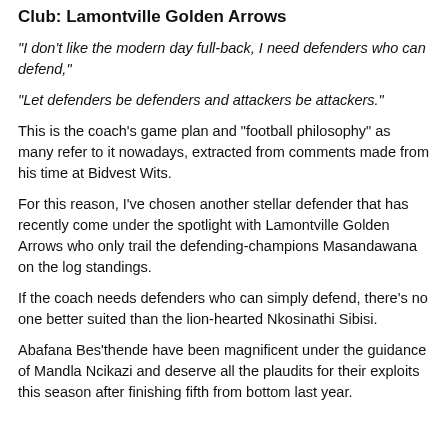Club: Lamontville Golden Arrows
"I don't like the modern day full-back, I need defenders who can defend,"
"Let defenders be defenders and attackers be attackers."
This is the coach's game plan and “football philosophy” as many refer to it nowadays, extracted from comments made from his time at Bidvest Wits.
For this reason, I've chosen another stellar defender that has recently come under the spotlight with Lamontville Golden Arrows who only trail the defending-champions Masandawana on the log standings.
If the coach needs defenders who can simply defend, there’s no one better suited than the lion-hearted Nkosinathi Sibisi.
Abafana Bes'thende have been magnificent under the guidance of Mandla Ncikazi and deserve all the plaudits for their exploits this season after finishing fifth from bottom last year.